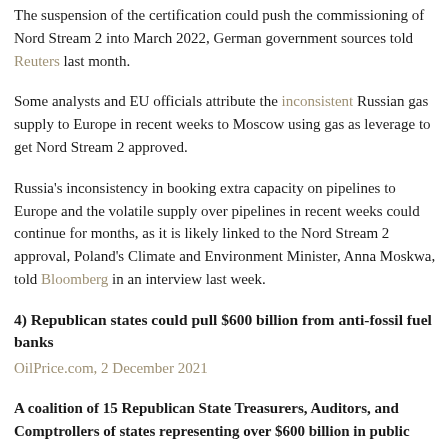The suspension of the certification could push the commissioning of Nord Stream 2 into March 2022, German government sources told Reuters last month.
Some analysts and EU officials attribute the inconsistent Russian gas supply to Europe in recent weeks to Moscow using gas as leverage to get Nord Stream 2 approved.
Russia's inconsistency in booking extra capacity on pipelines to Europe and the volatile supply over pipelines in recent weeks could continue for months, as it is likely linked to the Nord Stream 2 approval, Poland's Climate and Environment Minister, Anna Moskwa, told Bloomberg in an interview last week.
4) Republican states could pull $600 billion from anti-fossil fuel banks
OilPrice.com, 2 December 2021
A coalition of 15 Republican State Treasurers, Auditors, and Comptrollers of states representing over $600 billion in public assets... have recently said their states could potentially reduce